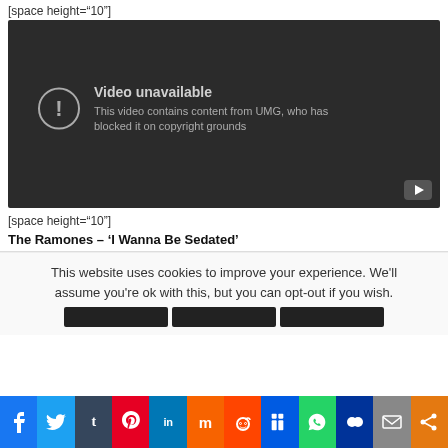[space height="10"]
[Figure (screenshot): YouTube video unavailable placeholder with dark background showing error icon and text: 'Video unavailable - This video contains content from UMG, who has blocked it on copyright grounds'. YouTube play button icon in bottom right corner.]
[space height="10"]
The Ramones – 'I Wanna Be Sedated'
This website uses cookies to improve your experience. We'll assume you're ok with this, but you can opt-out if you wish.
[Figure (screenshot): Social media share buttons bar: Facebook, Twitter, Tumblr, Pinterest, LinkedIn, Mix, Reddit, Digg, WhatsApp, MySpace, Email, Share icons in colored boxes]